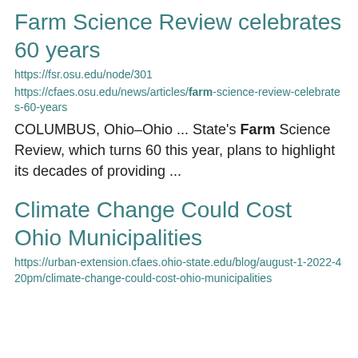Farm Science Review celebrates 60 years
https://fsr.osu.edu/node/301
https://cfaes.osu.edu/news/articles/farm-science-review-celebrates-60-years
COLUMBUS, Ohio–Ohio ... State's Farm Science Review, which turns 60 this year, plans to highlight its decades of providing ...
Climate Change Could Cost Ohio Municipalities
https://urban-extension.cfaes.ohio-state.edu/blog/august-1-2022-420pm/climate-change-could-cost-ohio-municipalities